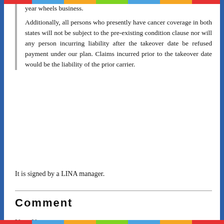year wheels business.
Additionally, all persons who presently have cancer coverage in both states will not be subject to the pre-existing condition clause nor will any person incurring liability after the takeover date be refused payment under our plan. Claims incurred prior to the takeover date would be the liability of the prior carrier.
It is signed by a LINA manager.
Comment
Your Name